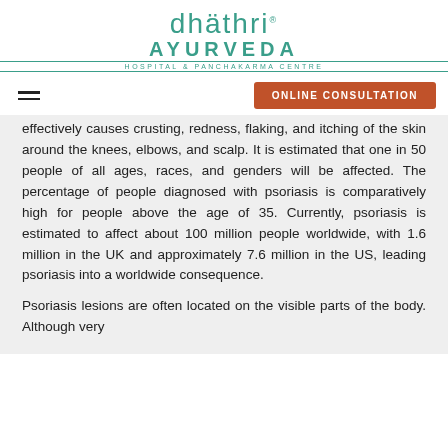[Figure (logo): Dhathri Ayurveda Hospital & Panchakarma Centre logo in teal/green color]
ONLINE CONSULTATION
effectively causes crusting, redness, flaking, and itching of the skin around the knees, elbows, and scalp. It is estimated that one in 50 people of all ages, races, and genders will be affected. The percentage of people diagnosed with psoriasis is comparatively high for people above the age of 35. Currently, psoriasis is estimated to affect about 100 million people worldwide, with 1.6 million in the UK and approximately 7.6 million in the US, leading psoriasis into a worldwide consequence.
Psoriasis lesions are often located on the visible parts of the body. Although very